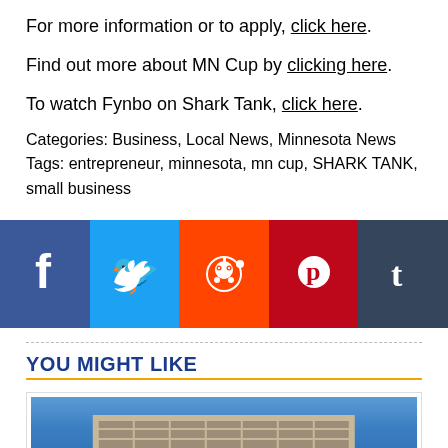For more information or to apply, click here.
Find out more about MN Cup by clicking here.
To watch Fynbo on Shark Tank, click here.
Categories: Business, Local News, Minnesota News
Tags: entrepreneur, minnesota, mn cup, SHARK TANK, small business
[Figure (infographic): Social media share buttons: Facebook (blue), Twitter (light blue), Reddit (orange), Pinterest (red), Tumblr (dark blue)]
YOU MIGHT LIKE
[Figure (photo): Photo of a tall building against a blue sky with trees in the foreground]